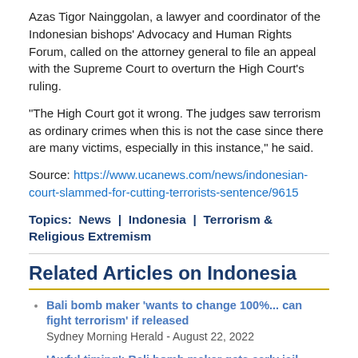Azas Tigor Nainggolan, a lawyer and coordinator of the Indonesian bishops' Advocacy and Human Rights Forum, called on the attorney general to file an appeal with the Supreme Court to overturn the High Court's ruling.
"The High Court got it wrong. The judges saw terrorism as ordinary crimes when this is not the case since there are many victims, especially in this instance," he said.
Source: https://www.ucanews.com/news/indonesian-court-slammed-for-cutting-terrorists-sentence/9615
Topics:  News  |  Indonesia  |  Terrorism & Religious Extremism
Related Articles on Indonesia
Bali bomb maker 'wants to change 100%... can fight terrorism' if released
Sydney Morning Herald - August 22, 2022
'Awful timing': Bali bomb maker gets early jail release as 20th anniversary of attack nears
Sydney Morning Herald - August 18, 2022